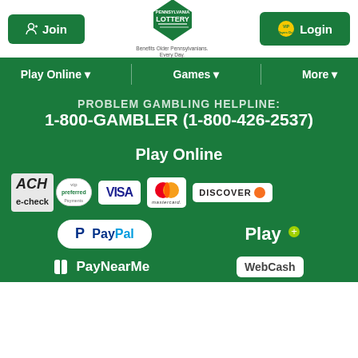[Figure (screenshot): Pennsylvania Lottery website header with Join button, PA Lottery logo, VIP Players Club Login button]
[Figure (screenshot): Navigation bar with Play Online, Games, More dropdown menus]
PROBLEM GAMBLING HELPLINE: 1-800-GAMBLER (1-800-426-2537)
Play Online
[Figure (infographic): Payment method logos: ACH e-check VIP preferred, VISA, Mastercard, Discover, PayPal, Play+, PayNearMe, WebCash]